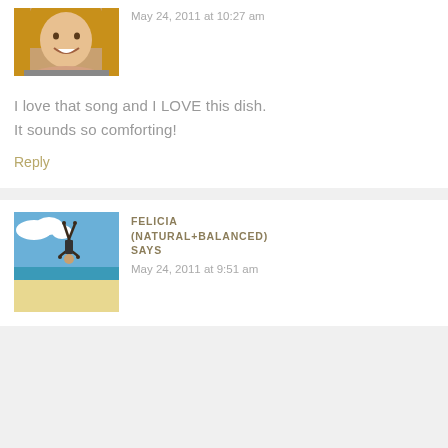[Figure (photo): Avatar photo of a young blonde woman smiling]
May 24, 2011 at 10:27 am
I love that song and I LOVE this dish. It sounds so comforting!
Reply
[Figure (photo): Avatar photo of a person doing a handstand on a beach with blue sky and ocean]
FELICIA (NATURAL+BALANCED) SAYS
May 24, 2011 at 9:51 am